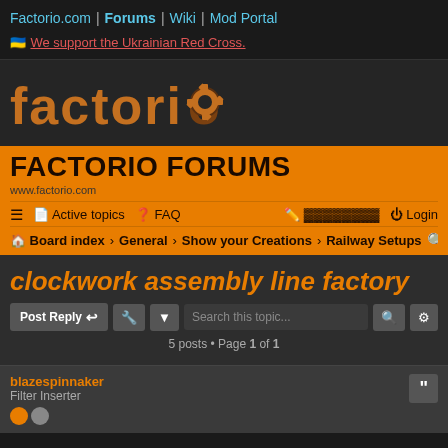Factorio.com | Forums | Wiki | Mod Portal
🇺🇦 We support the Ukrainian Red Cross.
[Figure (logo): Factorio logo with orange gear icon on dark background]
FACTORIO FORUMS
www.factorio.com
≡  Active topics  ? FAQ  [edit] [register]  Login
Board index › General › Show your Creations › Railway Setups  [search]
clockwork assembly line factory
Post Reply  [tool] [dropdown]  Search this topic...  [search] [settings]
5 posts • Page 1 of 1
blazespinnaker
Filter Inserter